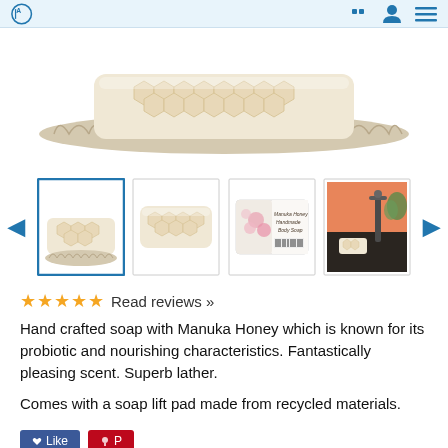Website header with logo and navigation icons
[Figure (photo): Main product image: a bar of Manuka Honey handmade soap sitting on a textured woven soap lift pad, viewed from above at slight angle. Soap has honeycomb-like texture, creamy white/beige color.]
[Figure (photo): Thumbnail gallery of 4 product images: (1) selected - soap bar on soap lift pad with blue border, (2) close-up of soap bar showing honeycomb texture, (3) packaged soap with floral label reading 'Manuka Honey Handmade Body Soap', (4) soap bar on dark granite countertop near faucet in bathroom setting. Left and right navigation arrows on sides.]
★★★★★ Read reviews »
Hand crafted soap with Manuka Honey which is known for its probiotic and nourishing characteristics. Fantastically pleasing scent. Superb lather.
Comes with a soap lift pad made from recycled materials.